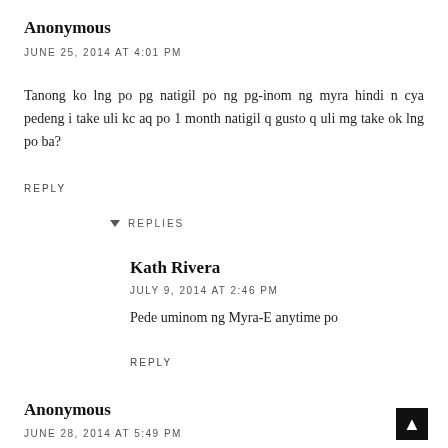Anonymous
JUNE 25, 2014 AT 4:01 PM
Tanong ko lng po pg natigil po ng pg-inom ng myra hindi n cya pedeng i take uli kc aq po 1 month natigil q gusto q uli mg take ok lng po ba?
REPLY
REPLIES
Kath Rivera
JULY 9, 2014 AT 2:46 PM
Pede uminom ng Myra-E anytime po
REPLY
Anonymous
JUNE 28, 2014 AT 5:49 PM